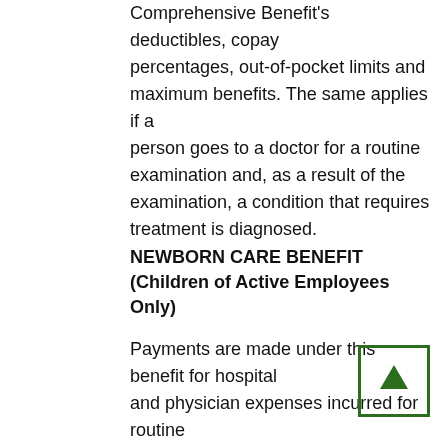Comprehensive Benefit's deductibles, copay percentages, out-of-pocket limits and maximum benefits. The same applies if a person goes to a doctor for a routine examination and, as a result of the examination, a condition that requires treatment is diagnosed.
NEWBORN CARE BENEFIT
(Children of Active Employees Only)
Payments are made under this benefit for hospital and physician expenses incurred for routine newborn care and for a healthy newborn dependent child during the child's first seven (7) days after birth. Benefits are payable at 100% of the incurred covered expenses up to a maximum benefit of $2,500. No deductible applies to these expenses.